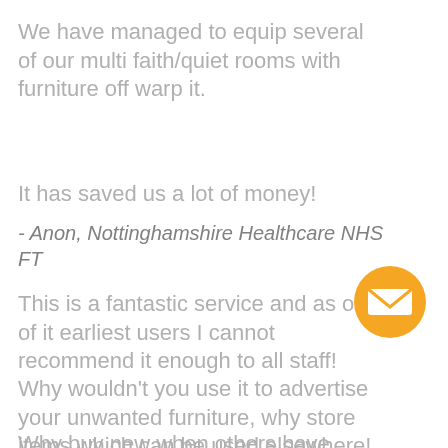We have managed to equip several of our multi faith/quiet rooms with furniture off warp it.
It has saved us a lot of money!
- Anon, Nottinghamshire Healthcare NHS FT
This is a fantastic service and as one of it earliest users I cannot recommend it enough to all staff!
Why wouldn't you use it to advertise your unwanted furniture, why store items which can be used elsewhere!
Why buy new when others have
[Figure (illustration): Orange circular email/envelope icon button in the lower right area of the page]